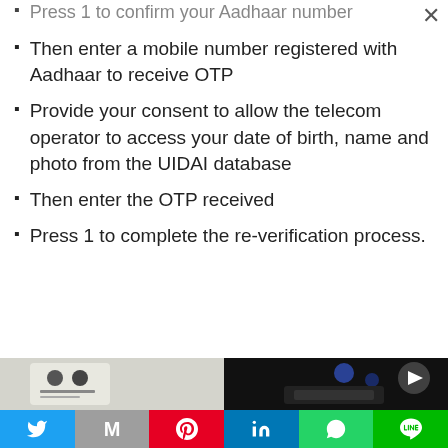Press 1 to confirm your Aadhaar number
Then enter a mobile number registered with Aadhaar to receive OTP
Provide your consent to allow the telecom operator to access your date of birth, name and photo from the UIDAI database
Then enter the OTP received
Press 1 to complete the re-verification process.
[Figure (photo): Two images: left shows Aadhaar card with UIDAI logo, right shows a person holding a phone with blue lights in background]
Twitter | Gmail | Pinterest | LinkedIn | WhatsApp | LINE